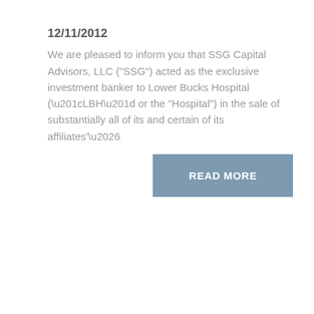12/11/2012
We are pleased to inform you that SSG Capital Advisors, LLC ("SSG") acted as the exclusive investment banker to Lower Bucks Hospital (“LBH” or the "Hospital") in the sale of substantially all of its and certain of its affiliates’….